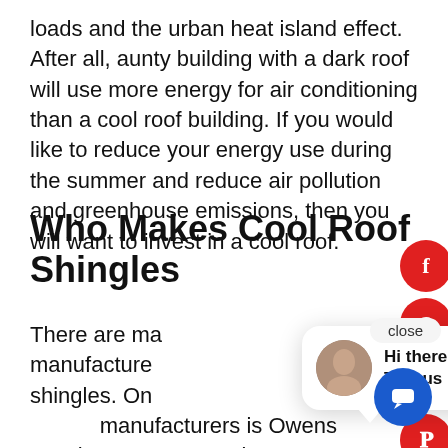loads and the urban heat island effect. After all, aunty building with a dark roof will use more energy for air conditioning than a cool roof building. If you would like to reduce your energy use during the summer and reduce air pollution and greenhouse emissions, then you will want to invest in a cool roof.
Who Makes Cool Roof Shingles
There are many cool roof shingle manufacturers that make cool roof shingles. One of the most well-known manufacturers is Owens Corning. Owens Corning advertises over 20 roof shingle colors that meet or exceed 20 aged SRI. SRI stands for the current aged Solar Reflectance Index criterion use for the state energy bills.